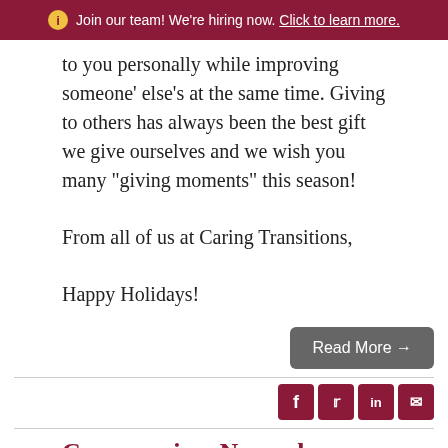Join our team! We're hiring now. Click to learn more.
to you personally while improving someone' else's at the same time. Giving to others has always been the best gift we give ourselves and we wish you many “giving moments” this season!

From all of us at Caring Transitions,

Happy Holidays!
[Figure (other): Read More button with arrow]
[Figure (other): Social media icons: Facebook, Twitter, LinkedIn, Email]
Cornucopia – November Newsletter
Posted by Erik Olson on November 29, 2012 at 8:38 AM
By Newsletter for Caring Transitions®